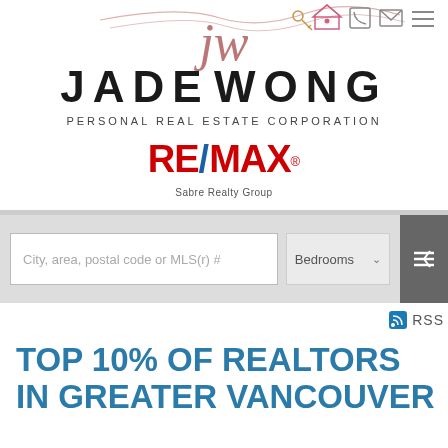[Figure (logo): Jade Wong Personal Real Estate Corporation logo with cursive JW script, key and house icons, and RE/MAX Sabre Realty Group logo]
[Figure (screenshot): Property search bar with 'City, area, postal code or MLS(r) #' input field, Bedrooms dropdown, and partial Ba... dropdown]
RSS
TOP 10% OF REALTORS IN GREATER VANCOUVER